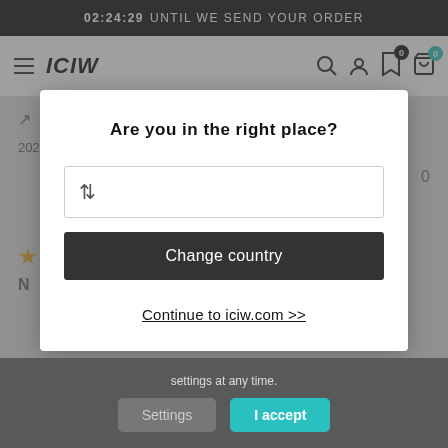02:24:29 UNTIL WE SEND YOUR ORDER
[Figure (screenshot): ICIW website navigation bar with hamburger menu, ICIW logo, search icon, user icon, bookmark icon with 0 badge, and cart icon with 0 badge]
[Figure (screenshot): Background website content showing share button, date, Danish flag, and rating elements dimmed behind modal]
Are you in the right place?
⇅
Change country
Continue to iciw.com >>
settings at any time.
Settings
I accept